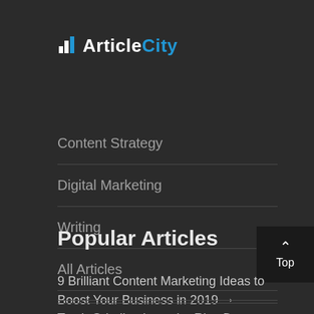[Figure (logo): ArticleCity logo with building icon, white 'Article' text and blue 'City' text on dark background]
Content Strategy
Digital Marketing
Writing
All Articles
Popular Articles
9 Brilliant Content Marketing Ideas to Boost Your Business in 2019 →
Teeth Grinding is on the Rise Due to